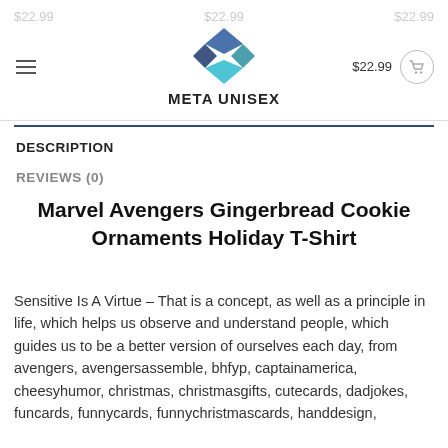META UNISEX — $22.99 $22.99 $22.99
DESCRIPTION
REVIEWS (0)
Marvel Avengers Gingerbread Cookie Ornaments Holiday T-Shirt
Sensitive Is A Virtue – That is a concept, as well as a principle in life, which helps us observe and understand people, which guides us to be a better version of ourselves each day, from avengers, avengersassemble, bhfyp, captainamerica, cheesyhumor, christmas, christmasgifts, cutecards, dadjokes, funcards, funnycards, funnychristmascards, handdesign,